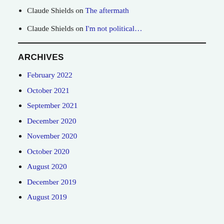Claude Shields on The aftermath
Claude Shields on I'm not political…
ARCHIVES
February 2022
October 2021
September 2021
December 2020
November 2020
October 2020
August 2020
December 2019
August 2019